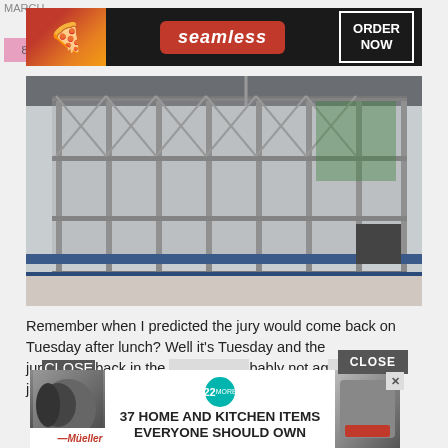MARCH
[Figure (screenshot): Seamless food delivery advertisement banner with pizza image on left, Seamless logo in red rounded rectangle center, and ORDER NOW text in white border box on dark background]
[Figure (photo): Outdoor photo showing metal scaffolding/cage structure, likely a construction site or rooftop area with chain-link fencing, viewed from behind a railing]
Remember when I predicted the jury would come back on Tuesday after lunch? Well it's Tuesday and the jury is back in the [room], probably not ag[reeing]... judge reads
[Figure (screenshot): Advertisement overlay showing '37 HOME AND KITCHEN ITEMS EVERYONE SHOULD OWN' with Mueller branding and a kitchen tool image, with CLOSE button and X close button]
CLOSE
[Figure (screenshot): Mueller kitchen products advertisement with '22' badge and product imagery on sides]